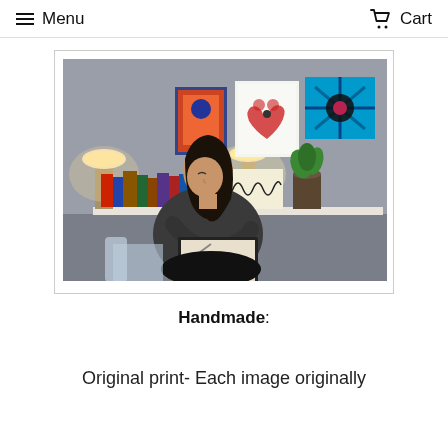Menu   Cart
[Figure (photo): A woman with dark hair sits on a couch writing in a sketchbook or notebook. Behind her is a white shelf with colorful artwork hanging on the wall above it, a lamp, a plant, and a row of books.]
Handmade:
Original print- Each image originally